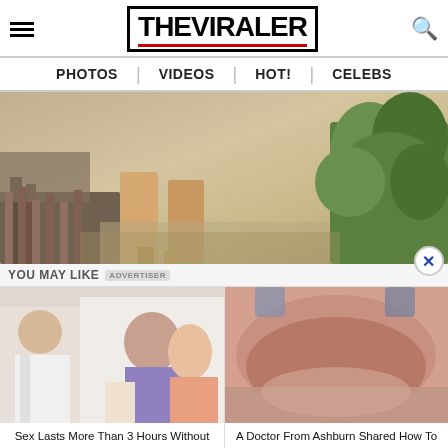THE VIRALER — PHOTOS | VIDEOS | HOT! | CELEBS
[Figure (photo): Close-up outdoor photo showing a person's legs/feet near rocks and green shrubs on sandy ground]
YOU MAY LIKE
[Figure (photo): Left card: doctor and illustrated couple; caption: Sex Lasts More Than 3 Hours Without Viagra! Write Down The Recipe]
[Figure (photo): Right card: close-up of person's midsection; caption: A Doctor From Ashburn Shared How To Remove A Hanging Belly!]
Sex Lasts More Than 3 Hours Without Viagra! Write Down The Recipe
A Doctor From Ashburn Shared How To Remove A Hanging Belly!